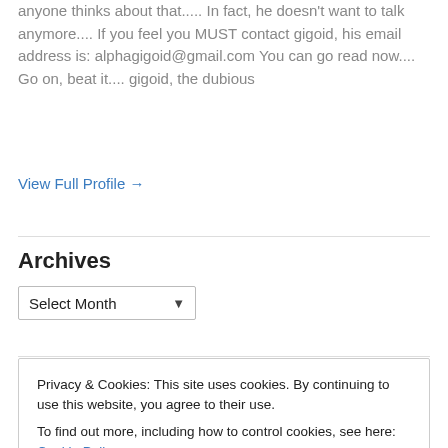anyone thinks about that..... In fact, he doesn't want to talk anymore.... If you feel you MUST contact gigoid, his email address is: alphagigoid@gmail.com You can go read now.... Go on, beat it.... gigoid, the dubious
View Full Profile →
Archives
Select Month
Categories
Privacy & Cookies: This site uses cookies. By continuing to use this website, you agree to their use. To find out more, including how to control cookies, see here: Cookie Policy
Close and accept
12  13  14  15  16  17  18